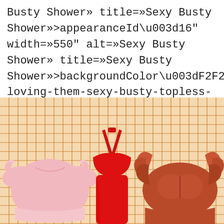Busty Shower» title=»Sexy Busty Shower»>appearanceId\u003d16" width=»550" alt=»Sexy Busty Shower» title=»Sexy Busty Shower»>backgroundColor\u003dF2F2F2/im-loving-them-sexy-busty-topless-1c-apron.jpg» width=»550" alt=»Sexy Busty Shower» title=»Sexy Busty Shower»>
[Figure (illustration): A product collage on an orange grid background showing three clothing/apron items: a pink short-sleeve crop top on the left, a red halter-neck swimsuit/apron in the center, and a rust/terracotta colored item on the right.]